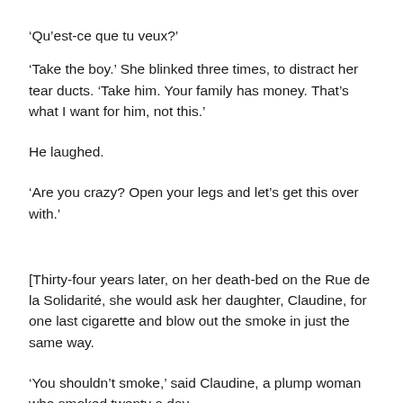‘Qu’est-ce que tu veux?’
‘Take the boy.’ She blinked three times, to distract her tear ducts. ‘Take him. Your family has money. That’s what I want for him, not this.’
He laughed.
‘Are you crazy? Open your legs and let’s get this over with.’
[Thirty-four years later, on her death-bed on the Rue de la Solidarité, she would ask her daughter, Claudine, for one last cigarette and blow out the smoke in just the same way.
‘You shouldn’t smoke,’ said Claudine, a plump woman who smoked twenty a day.
‘What do you’ — she had asked Monsieur — ‘What do you’